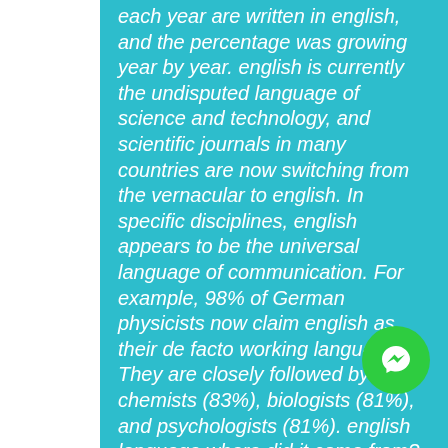each year are written in english, and the percentage was growing year by year. english is currently the undisputed language of science and technology, and scientific journals in many countries are now switching from the vernacular to english. In specific disciplines, english appears to be the universal language of communication. For example, 98% of German physicists now claim english as their de facto working language. They are closely followed by chemists (83%), biologists (81%), and psychologists (81%). english language where did it come from? english is a West Germanic language that originated from the Anglo-Frisian dialects brought to Britain by Germanic invaders from various parts of what is now northwest Germany and the Netherlands. Initially Old english was a diverse group of
[Figure (logo): Facebook Messenger green circle icon with white lightning bolt / chat symbol]